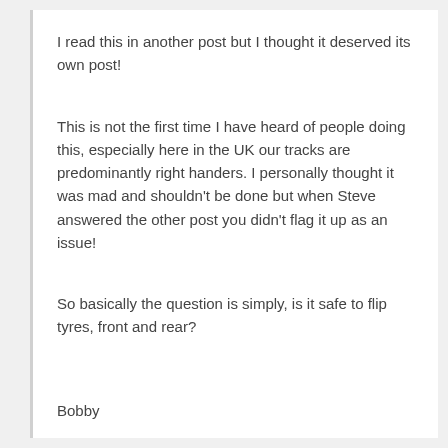I read this in another post but I thought it deserved its own post!
This is not the first time I have heard of people doing this, especially here in the UK our tracks are predominantly right handers. I personally thought it was mad and shouldn't be done but when Steve answered the other post you didn't flag it up as an issue!
So basically the question is simply, is it safe to flip tyres, front and rear?
Bobby